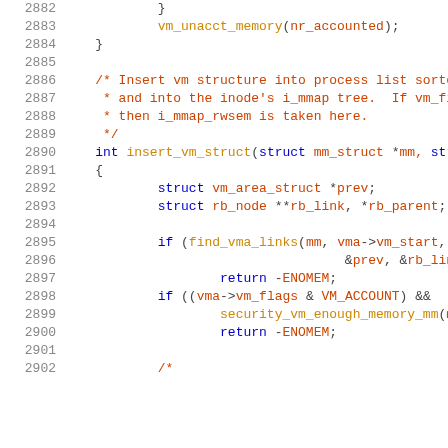[Figure (screenshot): Source code listing showing C kernel code lines 2882-2902, with line numbers in gray on the left and syntax-highlighted code on the right. Keywords in blue, identifiers/functions in orange/brown, comments in red-orange.]